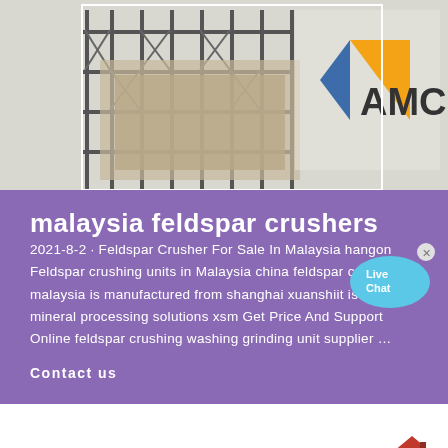[Figure (photo): Industrial crusher equipment with steel scaffolding structure, with AMC logo (orange and blue) in the upper right corner]
malaysia feldspar crushers
2021-8-2 · Feldspar Crusher For Sale In Malaysia hangon Feldspar crushing units in Malaysia china feldspar crushers in malaysia is manufactured from shanghai xuanshiit is the main mineral processing solutions xsm Get Price And Support Online feldspar crushing washing grinding unit supplier …
Contact us
[Figure (illustration): Small house/building icon in red and brown colors]